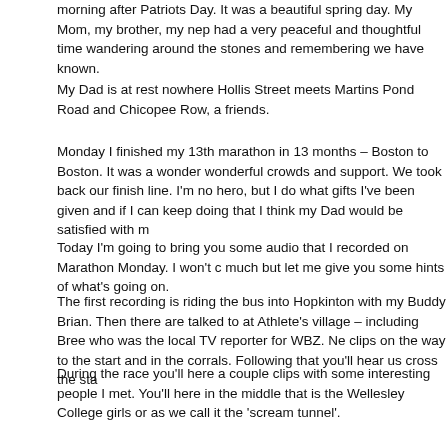morning after Patriots Day.  It was a beautiful spring day.  My Mom, my brother, my nep had a very peaceful and thoughtful time wandering around the stones and remembering we have known.
My Dad is at rest nowhere Hollis Street meets Martins Pond Road and Chicopee Row, a friends.
Monday I finished my 13th marathon in 13 months – Boston to Boston.  It was a wonder wonderful crowds and support.  We took back our finish line.  I'm no hero, but I do what gifts I've been given and if I can keep doing that I think my Dad would be satisfied with m
Today I'm going to bring you some audio that I recorded on Marathon Monday.  I won't c much but let me give you some hints of what's going on.
The first recording is riding the bus into Hopkinton with my Buddy Brian.  Then there are talked to at Athlete's village – including Bree who was the local TV reporter for WBZ.  Ne clips on the way to the start and in the corrals.  Following that you'll hear us cross the sta
During the race you'll here a couple clips with some interesting people I met.  You'll here in the middle that is the Wellesley College girls or as we call it the 'scream tunnel'.
As we get closer to the finish I start trying to help people who are struggling and I start h crowds.  The USA chant is the tipsy coeds at Boston College.
Finally I talk to some people after the finish line as we are getting our medals.